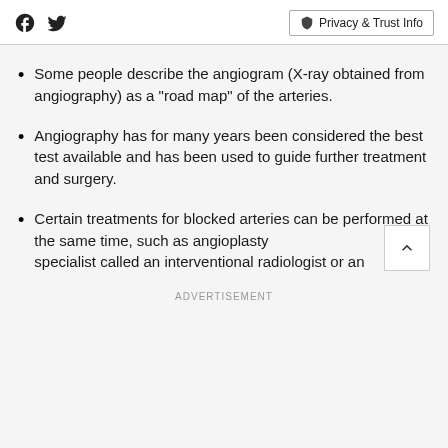Facebook Twitter Privacy & Trust Info
Some people describe the angiogram (X-ray obtained from angiography) as a "road map" of the arteries.
Angiography has for many years been considered the best test available and has been used to guide further treatment and surgery.
Certain treatments for blocked arteries can be performed at the same time, such as angioplasty specialist called an interventional radiologist or an
ADVERTISEMENT